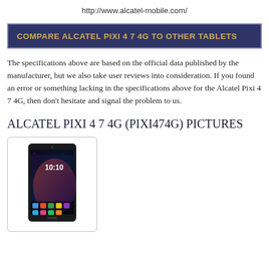http://www.alcatel-mobile.com/
COMPARE ALCATEL PIXI 4 7 4G TO OTHER TABLETS
The specifications above are based on the official data published by the manufacturer, but we also take user reviews into consideration. If you found an error or something lacking in the specifications above for the Alcatel Pixi 4 7 4G, then don't hesitate and signal the problem to us.
ALCATEL PIXI 4 7 4G (PIXI474G) PICTURES
[Figure (photo): Alcatel Pixi 4 7 4G tablet device shown in a bordered box, displaying the lock screen with time 10:10 and app icons at the bottom.]